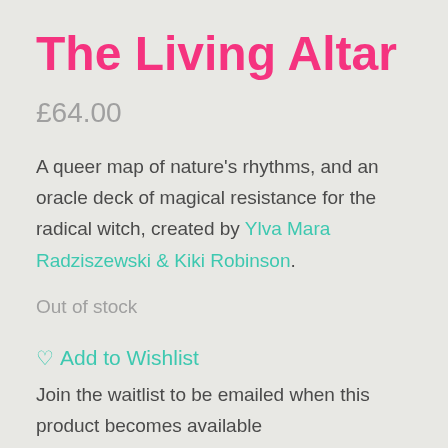The Living Altar
£64.00
A queer map of nature's rhythms, and an oracle deck of magical resistance for the radical witch, created by Ylva Mara Radziszewski & Kiki Robinson.
Out of stock
♡ Add to Wishlist
Join the waitlist to be emailed when this product becomes available